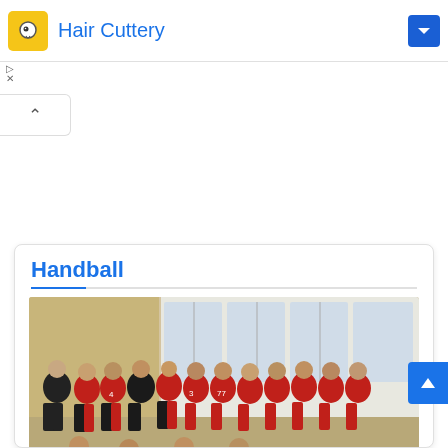[Figure (screenshot): Advertisement banner for Hair Cuttery with yellow logo icon and blue text]
[Figure (photo): Group photo of a handball team wearing red and black jerseys, posing indoors in a sports hall]
Handball